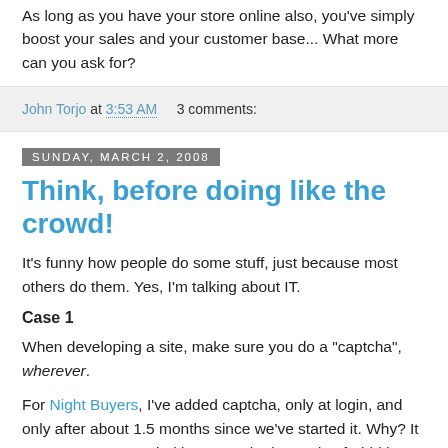As long as you have your store online also, you've simply boost your sales and your customer base... What more can you ask for?
John Torjo at 3:53 AM    3 comments:
Sunday, March 2, 2008
Think, before doing like the crowd!
It's funny how people do some stuff, just because most others do them. Yes, I'm talking about IT.
Case 1
When developing a site, make sure you do a "captcha", wherever.
For Night Buyers, I've added captcha, only at login, and only after about 1.5 months since we've started it. Why? It wasn't on my top priorities. Captcha is good to forbid bots to register. But that happens only when you have lots and lots